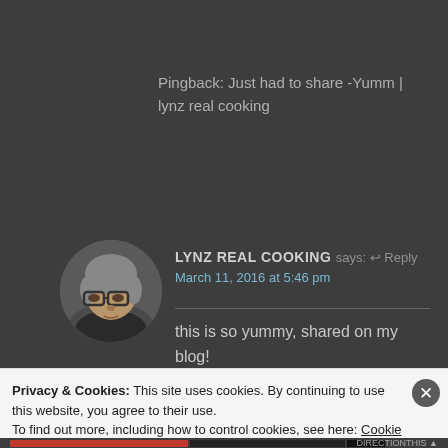Pingback: Just had to share -Yumm | lynz real cooking
[Figure (photo): Circular avatar photo of a woman with gray hair and glasses, wearing a dark top, outdoors background]
LYNZ REAL COOKING says: ↩ Reply
March 11, 2016 at 5:46 pm
this is so yummy, shared on my blog!
Lynn
★ Liked by 1 person
Privacy & Cookies: This site uses cookies. By continuing to use this website, you agree to their use.
To find out more, including how to control cookies, see here: Cookie Policy
Close and accept